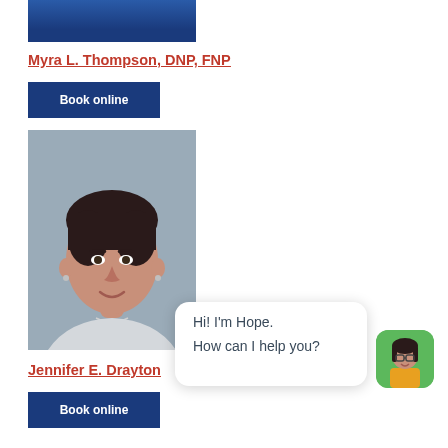[Figure (photo): Partial photo of provider (cropped, top portion visible) with dark blue background]
Myra L. Thompson, DNP, FNP
Book online
[Figure (photo): Headshot of Jennifer E. Drayton, a woman with short dark hair, smiling, wearing a light gray sweater against a gray background]
Jennifer E. Drayton
Book online
Hi! I'm Hope.
How can I help you?